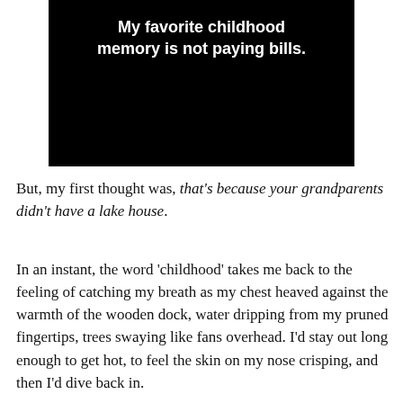[Figure (screenshot): Black background image with white bold text reading: My favorite childhood memory is not paying bills.]
But, my first thought was, that's because your grandparents didn't have a lake house.
In an instant, the word 'childhood' takes me back to the feeling of catching my breath as my chest heaved against the warmth of the wooden dock, water dripping from my pruned fingertips, trees swaying like fans overhead. I'd stay out long enough to get hot, to feel the skin on my nose crisping, and then I'd dive back in.